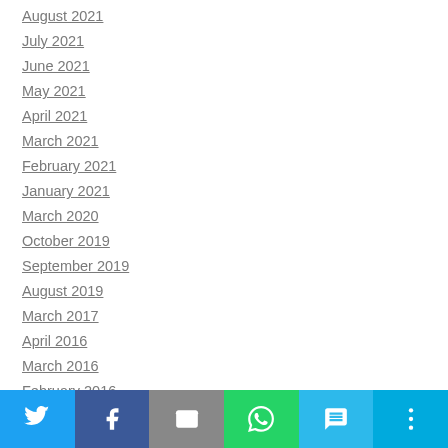August 2021
July 2021
June 2021
May 2021
April 2021
March 2021
February 2021
January 2021
March 2020
October 2019
September 2019
August 2019
March 2017
April 2016
March 2016
February 2016
January 2016